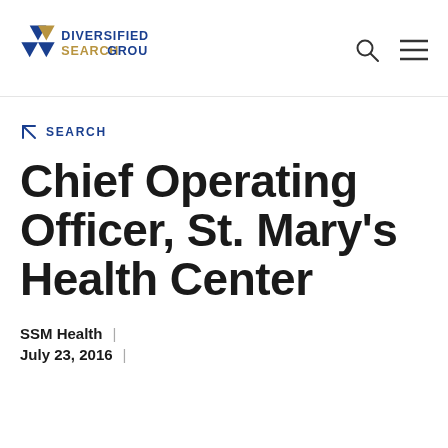[Figure (logo): Diversified Search Group logo with blue and gold triangle shapes and blue/gold text]
SEARCH
Chief Operating Officer, St. Mary's Health Center
SSM Health  |
July 23, 2016  |